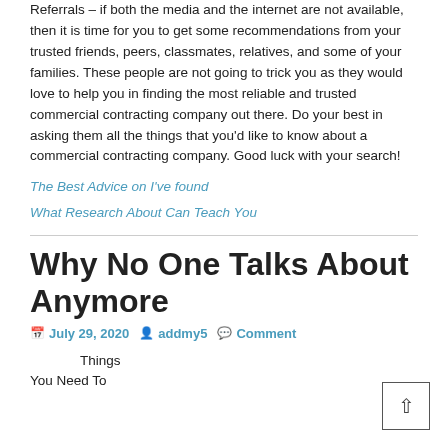Referrals – if both the media and the internet are not available, then it is time for you to get some recommendations from your trusted friends, peers, classmates, relatives, and some of your families. These people are not going to trick you as they would love to help you in finding the most reliable and trusted commercial contracting company out there. Do your best in asking them all the things that you'd like to know about a commercial contracting company. Good luck with your search!
The Best Advice on I've found
What Research About Can Teach You
Why No One Talks About Anymore
July 29, 2020  addmy5  Comment
Things
You Need To